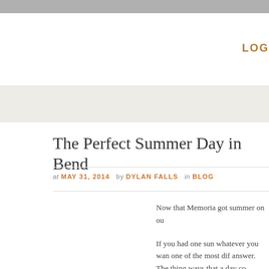LOG
The Perfect Summer Day in Bend
at MAY 31, 2014  by DYLAN FALLS  in BLOG
Now that Memoria got summer on ou

If you had one sun whatever you wan one of the most dif answer. The thing ways that a day co consider "perfect."